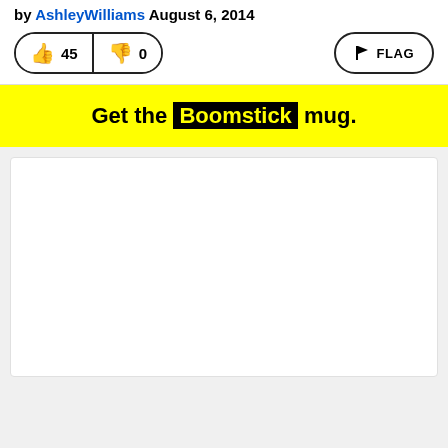by AshleyWilliams August 6, 2014
[Figure (screenshot): Vote buttons showing thumbs up (45) and thumbs down (0), and a FLAG button]
Get the Boomstick mug.
[Figure (other): White card/advertisement area (empty)]